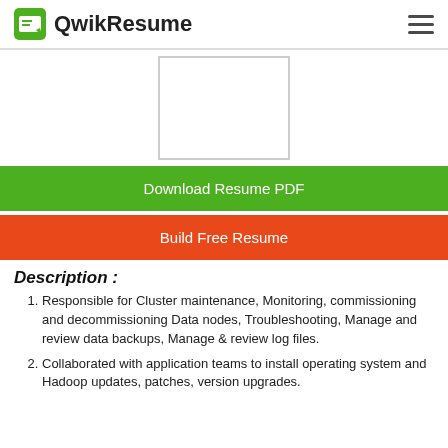QwikResume
[Figure (other): Resume preview thumbnail (blank white rectangle with border)]
Download Resume PDF
Build Free Resume
Description :
Responsible for Cluster maintenance, Monitoring, commissioning and decommissioning Data nodes, Troubleshooting, Manage and review data backups, Manage & review log files.
Collaborated with application teams to install operating system and Hadoop updates, patches, version upgrades.